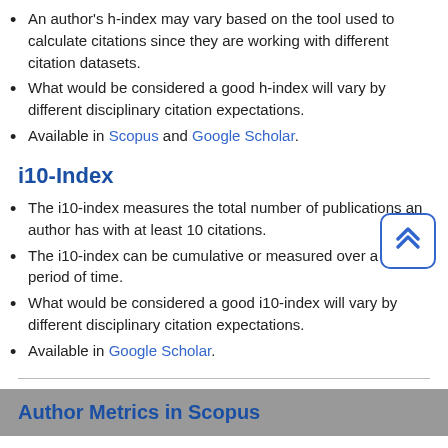An author's h-index may vary based on the tool used to calculate citations since they are working with different citation datasets.
What would be considered a good h-index will vary by different disciplinary citation expectations.
Available in Scopus and Google Scholar.
i10-Index
The i10-index measures the total number of publications an author has with at least 10 citations.
The i10-index can be cumulative or measured over a limited period of time.
What would be considered a good i10-index will vary by different disciplinary citation expectations.
Available in Google Scholar.
Author Metrics in Scopus